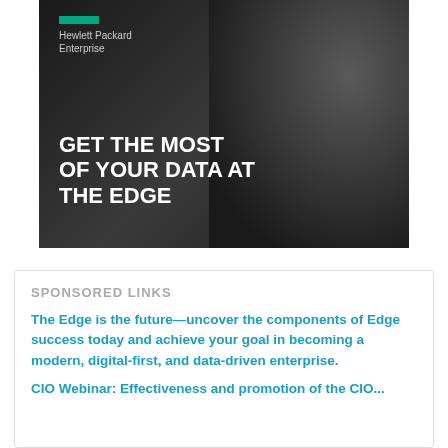[Figure (photo): Hewlett Packard Enterprise advertisement banner showing a professional woman working on a laptop in a dark background. HPE logo with green bar at top left. Bold white text reads 'GET THE MOST OF YOUR DATA AT THE EDGE'.]
SPONSORED LINKS
The Edge is the future—uncover the components of Edge success today and achieve your goal in becoming a modern, digital-first, and data-driven enterprise.
CIO Webinar: Effectiveness and promotion of the CIO...